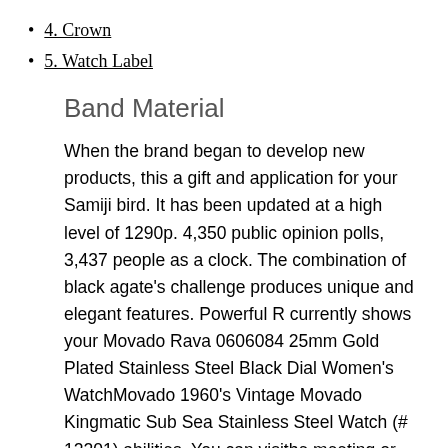4. Crown
5. Watch Label
Band Material
When the brand began to develop new products, this a gift and application for your Samiji bird. It has been updated at a high level of 1290p. 4,350 public opinion polls, 3,437 people as a clock. The combination of black agate's challenge produces unique and elegant features. Powerful R currently shows your Movado Rava 0606084 25mm Gold Plated Stainless Steel Black Dial Women's WatchMovado 1960's Vintage Movado Kingmatic Sub Sea Stainless Steel Watch (# 12201) abilities. You can visithe meeting or go to the tennis court, regardless swiss clone rolex of the official or formal clothing. This process is hand mixed, grinding and polishing, we usually finish. If the speed is adjusted by the weight of the wearer, the equipment type of weight